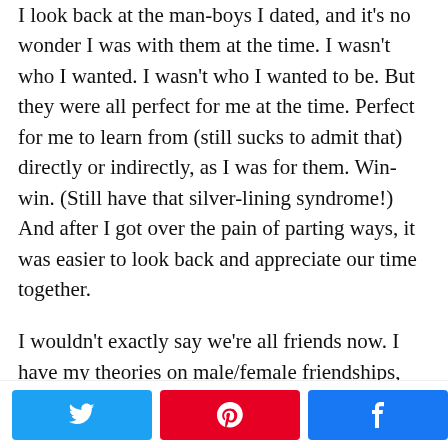I look back at the man-boys I dated, and it's no wonder I was with them at the time. I wasn't who I wanted. I wasn't who I wanted to be. But they were all perfect for me at the time. Perfect for me to learn from (still sucks to admit that) directly or indirectly, as I was for them. Win-win. (Still have that silver-lining syndrome!) And after I got over the pain of parting ways, it was easier to look back and appreciate our time together.
I wouldn't exactly say we're all friends now. I have my theories on male/female friendships, but we are friendly. I've talked, texted or chai tea'd with them all in the last couple weeks and, though they'll never be BMFFs, they too have learned and grown and are now different people than they
[Figure (infographic): Social share bar with Twitter (blue), Pinterest (red), Facebook (blue) buttons and a share count showing 0 SHARES]